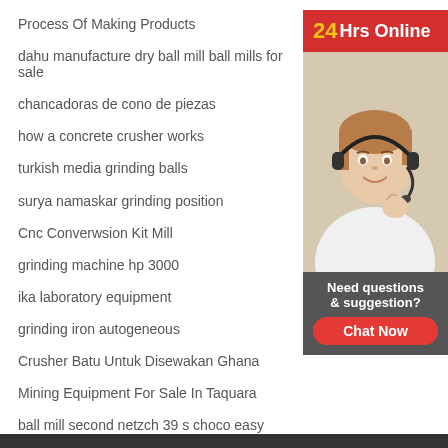Process Of Making Products
dahu manufacture dry ball mill ball mills for sale
chancadoras de cono de piezas
how a concrete crusher works
turkish media grinding balls
surya namaskar grinding position
Cnc Converwsion Kit Mill
grinding machine hp 3000
ika laboratory equipment
grinding iron autogeneous
Crusher Batu Untuk Disewakan Ghana
Mining Equipment For Sale In Taquara
ball mill second netzch 39 s choco easy
Used Used Stone Crusher For Sale In America
[Figure (illustration): Customer service representative with headset, smiling. Sidebar widget with '24Hrs Online' header in red, photo of female CS rep, and 'Need questions & suggestion? Chat Now' section in dark grey.]